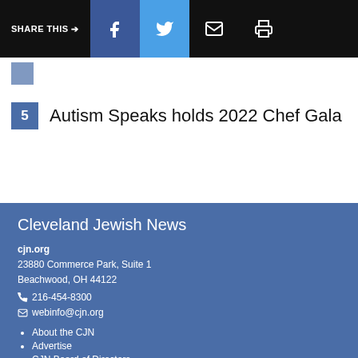SHARE THIS →  f  🐦  ✉  🖨
5  Autism Speaks holds 2022 Chef Gala
Cleveland Jewish News
cjn.org
23880 Commerce Park, Suite 1
Beachwood, OH 44122
📞 216-454-8300
✉ webinfo@cjn.org
About the CJN
Advertise
CJN Board of Directors
CJN Foundation Board of Directors
CJN Tomorrow
Contact Us